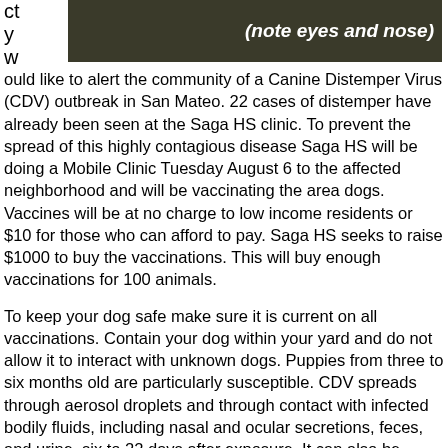[Figure (photo): Partial image of a dog (close-up, fur visible) with text overlay '(note eyes and nose)' in bold italic white text on dark background]
ct
y
w
ould like to alert the community of a Canine Distemper Virus (CDV) outbreak in San Mateo. 22 cases of distemper have already been seen at the Saga HS clinic. To prevent the spread of this highly contagious disease Saga HS will be doing a Mobile Clinic Tuesday August 6 to the affected neighborhood and will be vaccinating the area dogs. Vaccines will be at no charge to low income residents or $10 for those who can afford to pay. Saga HS seeks to raise $1000 to buy the vaccinations. This will buy enough vaccinations for 100 animals.
To keep your dog safe make sure it is current on all vaccinations. Contain your dog within your yard and do not allow it to interact with unknown dogs. Puppies from three to six months old are particularly susceptible. CDV spreads through aerosol droplets and through contact with infected bodily fluids, including nasal and ocular secretions, feces, and urine, six to 22 days after exposure. It can also be spread by food and water contaminated with these fluids. The time between infection and disease is 14 to 18 days, although a fever can appear from three to six days after infection The virus is destroyed in the environment by routine cleaning with disinfectants, detergents, or drying. It does not survive in the environment for